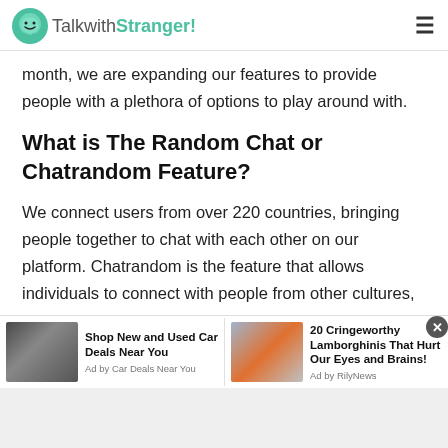TalkwithStranger!
month, we are expanding our features to provide people with a plethora of options to play around with.
What is The Random Chat or Chatrandom Feature?
We connect users from over 220 countries, bringing people together to chat with each other on our platform. Chatrandom is the feature that allows individuals to connect with people from other cultures, countries, and other parts of the world. It is our aim to bring together people from different cultures to make this world a better
[Figure (screenshot): Advertisement bar with two ad items: 'Shop New and Used Car Deals Near You' by Car Deals Near You, and '20 Cringeworthy Lamborghinis That Hurt Our Eyes and Brains!' by RilyNews]